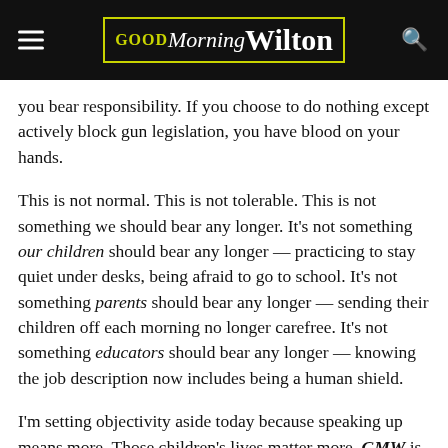GOOD Morning Wilton
you bear responsibility. If you choose to do nothing except actively block gun legislation, you have blood on your hands.
This is not normal. This is not tolerable. This is not something we should bear any longer. It’s not something our children should bear any longer — practicing to stay quiet under desks, being afraid to go to school. It’s not something parents should bear any longer — sending their children off each morning no longer carefree. It’s not something educators should bear any longer — knowing the job description now includes being a human shield.
I’m setting objectivity aside today because speaking up means more. Those children’s lives matter more. GMW is publishing no other articles or news stories today, because it seems trivial to think about anything else but what happened…